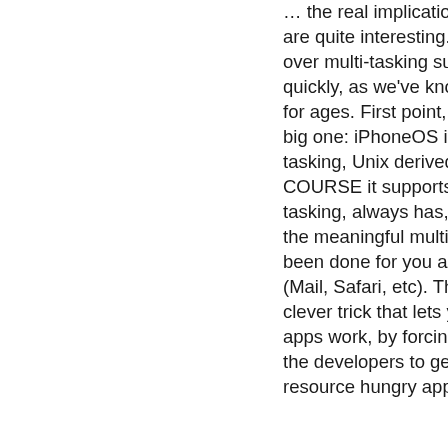... the real implications, which are quite interesting. Let's skip over multi-tasking support quickly, as we've know about it for ages. First point, and it's a big one: iPhoneOS is a multi-tasking, Unix derived, OS. OF COURSE it supports multi-tasking, always has, and a lot of the meaningful multi-tasking has been done for you and works (Mail, Safari, etc). This is a clever trick that lets your old apps work, by forcing most of the developers to get used to resource hungry apps being